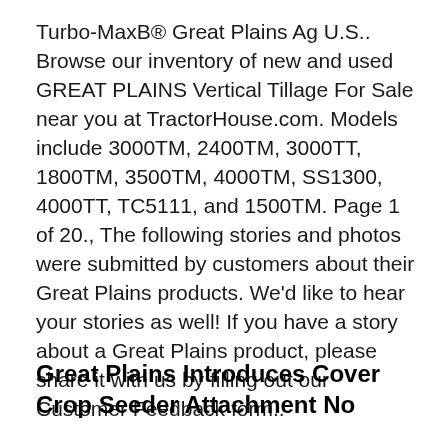Turbo-MaxB® Great Plains Ag U.S.. Browse our inventory of new and used GREAT PLAINS Vertical Tillage For Sale near you at TractorHouse.com. Models include 3000TM, 2400TM, 3000TT, 1800TM, 3500TM, 4000TM, SS1300, 4000TT, TC5111, and 1500TM. Page 1 of 20., The following stories and photos were submitted by customers about their Great Plains products. We'd like to hear your stories as well! If you have a story about a Great Plains product, please share it with us by filling out our Customer Feedback form..
Great Plains Introduces Cover Crop Seeder Attachment No